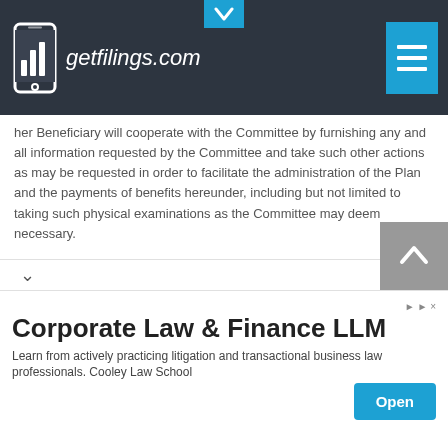getfilings.com
her Beneficiary will cooperate with the Committee by furnishing any and all information requested by the Committee and take such other actions as may be requested in order to facilitate the administration of the Plan and the payments of benefits hereunder, including but not limited to taking such physical examinations as the Committee may deem necessary.
15.7 TERMS.  Whenever any words are used herein in the singular or in the plural, they shall be construed as though